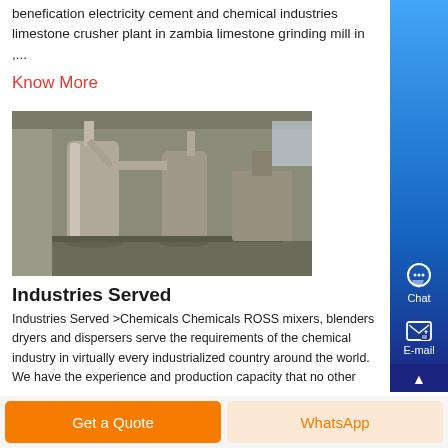benefication electricity cement and chemical industries limestone crusher plant in zambia limestone grinding mill in ,...
Know More
[Figure (photo): Industrial facility interior showing large cylindrical dust collection or grinding equipment with pipes and machinery in a warehouse-like structure]
Industries Served
Industries Served >Chemicals Chemicals ROSS mixers, blenders dryers and dispersers serve the requirements of the chemical industry in virtually every industrialized country around the world. We have the experience and production capacity that no other
Get a Quote
WhatsApp